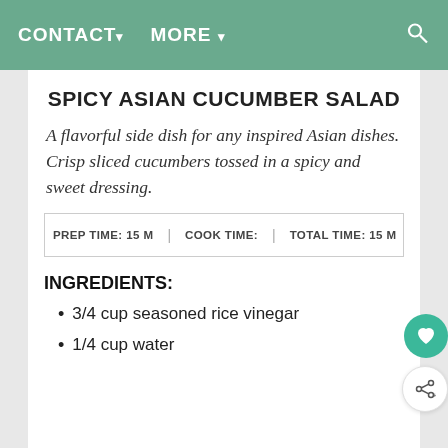CONTACT▾   MORE ▾
SPICY ASIAN CUCUMBER SALAD
A flavorful side dish for any inspired Asian dishes. Crisp sliced cucumbers tossed in a spicy and sweet dressing.
| PREP TIME | COOK TIME | TOTAL TIME |
| --- | --- | --- |
| 15 M |  | 15 M |
INGREDIENTS:
3/4 cup seasoned rice vinegar
1/4 cup water